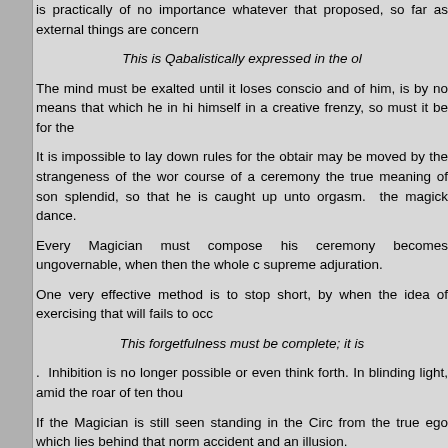is practically of no importance whatever that proposed, so far as external things are concern
This is Qabalistically expressed in the ol
The mind must be exalted until it loses conscio and of him, is by no means that which he in hi himself in a creative frenzy, so must it be for the
It is impossible to lay down rules for the obtair may be moved by the strangeness of the wor course of a ceremony the true meaning of son splendid, so that he is caught up unto orgasm. the magick dance.
Every Magician must compose his ceremony becomes ungovernable, when then the whole c supreme adjuration.
One very effective method is to stop short, by when the idea of exercising that will fails to occ
This forgetfulness must be complete; it is
. Inhibition is no longer possible or even think forth. In blinding light, amid the roar of ten thou
If the Magician is still seen standing in the Circ from the true ego which lies behind that norm accident and an illusion.